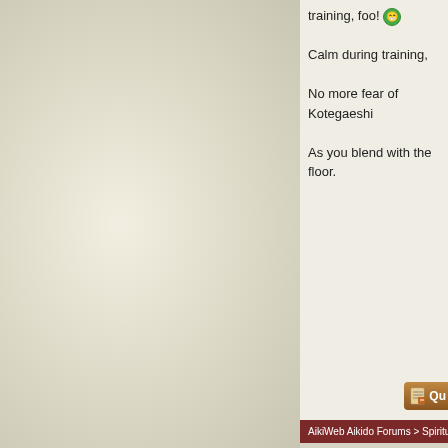training, foo! 😁

Calm during training,

No more fear of Kotegaeshi

As you blend with the floor.
AikiWeb Aikido Forums > Spiritual > Zen poems B4 training!
Post Reply
« Previous Thread | Next Thread »
Currently Active Users Viewing This Thread: 1 (0 members and 1 guests)
Posting Rules
You may not post new threads
You may not post replies